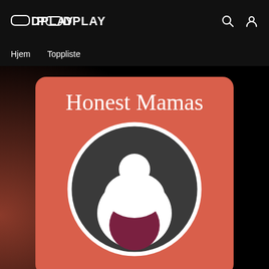PODPLAY
Hjem   Toppliste
[Figure (logo): Honest Mamas podcast cover art: salmon/coral red square with rounded corners, large serif text 'Honest Mamas' at top, dark circular logo below featuring a white stylized pregnant figure silhouette with a dark maroon belly circle inside a dark grey circle with white ring border]
Honest Mamas